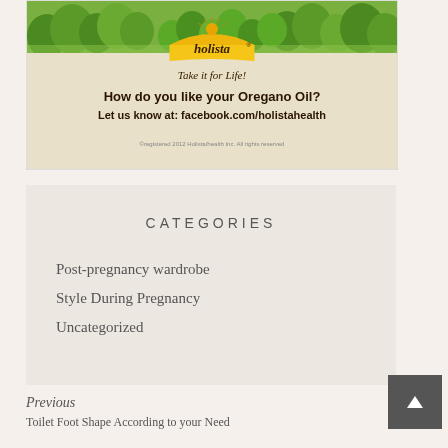[Figure (illustration): Holista brand advertisement showing green trees/plants across the top, a yellow/orange rainbow-style logo with 'holista' text, tagline 'Take it for Life!', headline 'How do you like your Oregano Oil?', subtext 'Let us know at: facebook.com/holistahealth', with small copyright text at bottom]
CATEGORIES
Post-pregnancy wardrobe
Style During Pregnancy
Uncategorized
Previous
Toilet Foot Shape According to your Need